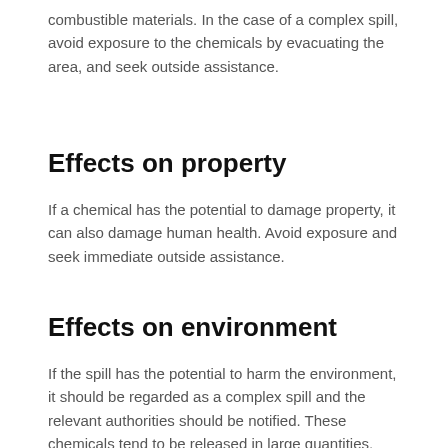combustible materials. In the case of a complex spill, avoid exposure to the chemicals by evacuating the area, and seek outside assistance.
Effects on property
If a chemical has the potential to damage property, it can also damage human health. Avoid exposure and seek immediate outside assistance.
Effects on environment
If the spill has the potential to harm the environment, it should be regarded as a complex spill and the relevant authorities should be notified. These chemicals tend to be released in large quantities, and so if the chemical is not dangerous to